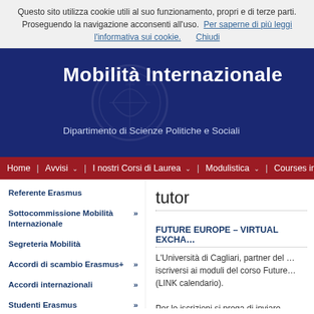Questo sito utilizza cookie utili al suo funzionamento, propri e di terze parti. Proseguendo la navigazione acconsenti all'uso. Per saperne di più leggi l'informativa sui cookie. Chiudi
Mobilità Internazionale
Dipartimento di Scienze Politiche e Sociali
Home | Avvisi | I nostri Corsi di Laurea | Modulistica | Courses in E…
Referente Erasmus
Sottocommissione Mobilità Internazionale
Segreteria Mobilità
Accordi di scambio Erasmus+
Accordi internazionali
Studenti Erasmus
Visiting Professor
tutor
FUTURE EUROPE – VIRTUAL EXCHA…
L'Università di Cagliari, partner del … iscriversi ai moduli del corso Future … (LINK calendario). Per le iscrizioni si prega di inviare…